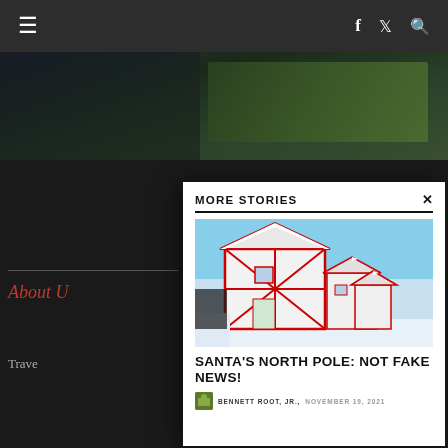≡  [navigation icons] f  Twitter  search
[Figure (photo): Background scenic photo showing railway tracks and green trees]
MORE STORIES
[Figure (photo): Photo of a Christmas-themed building (Santa's North Pole) with red and white Tudor-style architecture covered in snow, under a blue sky]
SANTA'S NORTH POLE: NOT FAKE NEWS!
BENNETT ROOT, JR.,  NOVEMBER 19, 2021